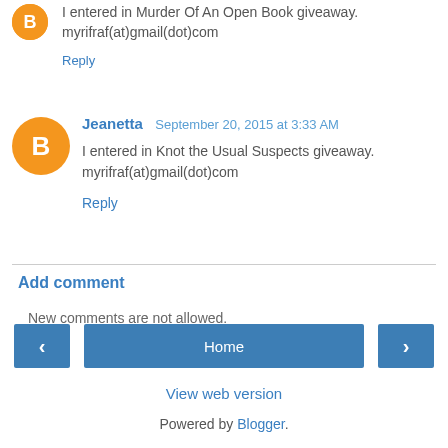I entered in Murder Of An Open Book giveaway. myrifraf(at)gmail(dot)com
Reply
Jeanetta  September 20, 2015 at 3:33 AM
I entered in Knot the Usual Suspects giveaway. myrifraf(at)gmail(dot)com
Reply
Add comment
New comments are not allowed.
Home
View web version
Powered by Blogger.